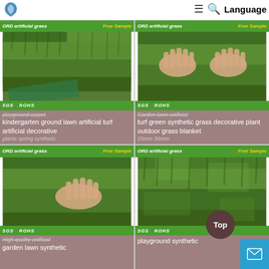[Figure (screenshot): Website product listing page for ORD artificial grass, showing 4 product cards in a 2x2 grid with green turf images and product descriptions, plus navigation bar with logo, hamburger menu, search icon, and Language button.]